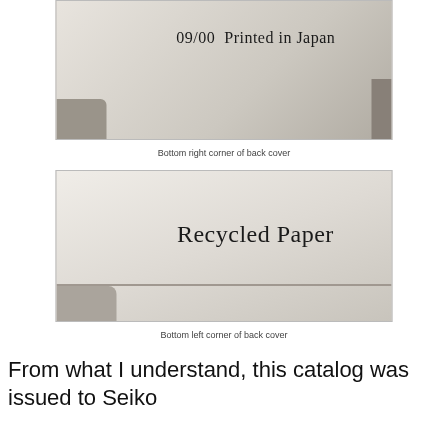[Figure (photo): Close-up photo of bottom right corner of a book back cover showing text '09/00  Printed in Japan' printed on white paper with cardboard corner visible]
Bottom right corner of back cover
[Figure (photo): Close-up photo of bottom left corner of a book back cover showing text 'Recycled Paper' in large serif font printed on white paper with metallic/cardboard corner visible]
Bottom left corner of back cover
From what I understand, this catalog was issued to Seiko